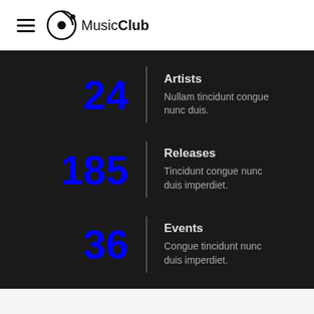MusicClub
24 — Artists
Nullam tincidunt congue nunc duis.
185 — Releases
Tincidunt congue nunc duis imperdiet.
36 — Events
Congue tincidunt nunc duis imperdiet.